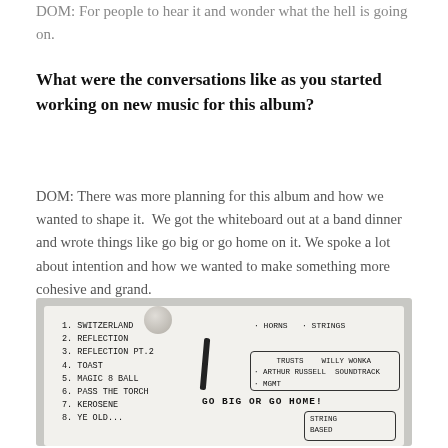DOM: For people to hear it and wonder what the hell is going on.
What were the conversations like as you started working on new music for this album?
DOM: There was more planning for this album and how we wanted to shape it. We got the whiteboard out at a band dinner and wrote things like go big or go home on it. We spoke a lot about intention and how we wanted to make something more cohesive and grand.
[Figure (photo): Photo of a whiteboard with a handwritten list of song titles: 1. SWITZERLAND, 2. REFLECTION, 3. REFLECTION PT.2, 4. TOAST, 5. MAGIC 8 BALL, 6. PASS THE TORCH, 7. KEROSENE, 8. YE OLD... and on the right side notes including HORNS, STRINGS, TRUSTS, WILLY WONKA SOUNDTRACK, ARTHUR RUSSELL, MGMT, GO BIG OR GO HOME!, STRING BASED]